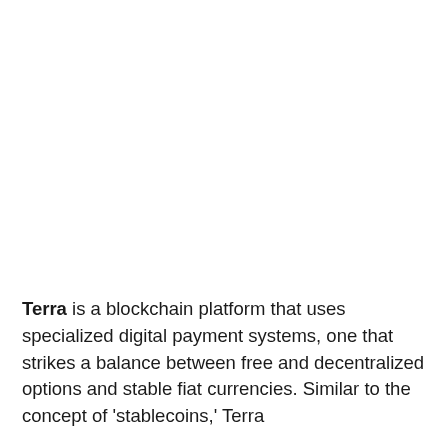Terra is a blockchain platform that uses specialized digital payment systems, one that strikes a balance between free and decentralized options and stable fiat currencies. Similar to the concept of 'stablecoins,' Terra